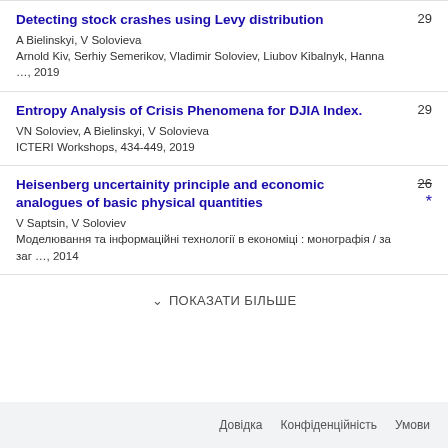Detecting stock crashes using Levy distribution
A Bielinskyi, V Solovieva
Arnold Kiv, Serhiy Semerikov, Vladimir Soloviev, Liubov Kibalnyk, Hanna …, 2019
29
Entropy Analysis of Crisis Phenomena for DJIA Index.
VN Soloviev, A Bielinskyi, V Solovieva
ICTERI Workshops, 434-449, 2019
29
Heisenberg uncertainity principle and economic analogues of basic physical quantities
V Saptsin, V Soloviev
Моделювання та інформаційні технології в економіці : монографія / за заг …, 2014
26 *
∨ ПОКАЗАТИ БІЛЬШЕ
Довідка  Конфіденційність  Умови